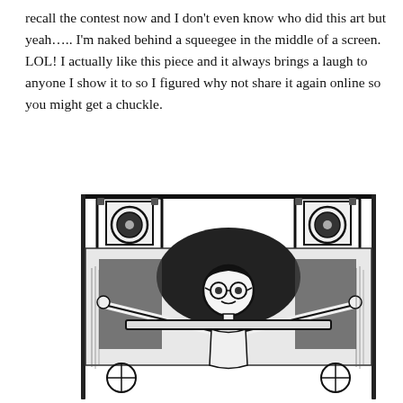recall the contest now and I don't even know who did this art but yeah….. I'm naked behind a squeegee in the middle of a screen. LOL! I actually like this piece and it always brings a laugh to anyone I show it to so I figured why not share it again online so you might get a chuckle.
[Figure (illustration): Black and white cartoon illustration of a person with glasses and dark hair, arms outstretched, standing behind what appears to be a screen printing frame/squeegee with two circular objects (reels or rollers) on either side at the top, and crosshair targets at the bottom corners.]